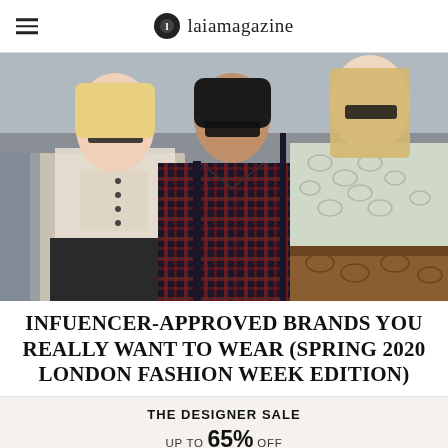laiamagazine
[Figure (photo): Three stylish women wearing sunglasses at what appears to be London Fashion Week. Left woman wears a sheer white blouse and black skirt, center woman wears a plaid/tartan off-shoulder dress, right woman wears a grey snake-print blouse with a brown snake-print skirt.]
INFUENCER-APPROVED BRANDS YOU REALLY WANT TO WEAR (SPRING 2020 LONDON FASHION WEEK EDITION)
THE DESIGNER SALE
UP TO 65% OFF